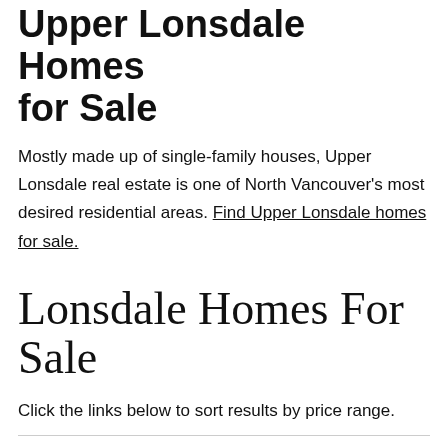Upper Lonsdale Homes for Sale
Mostly made up of single-family houses, Upper Lonsdale real estate is one of North Vancouver's most desired residential areas. Find Upper Lonsdale homes for sale.
Lonsdale Homes For Sale
Click the links below to sort results by price range.
All Listings